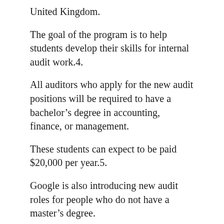United Kingdom.
The goal of the program is to help students develop their skills for internal audit work.4.
All auditors who apply for the new audit positions will be required to have a bachelor's degree in accounting, finance, or management.
These students can expect to be paid $20,000 per year.5.
Google is also introducing new audit roles for people who do not have a master's degree.
These new audit programs will only be available to those who have been in audit for less than two years.